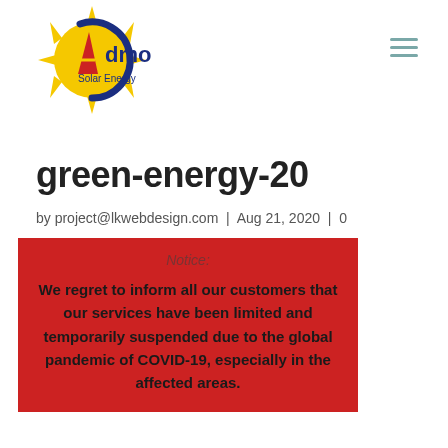[Figure (logo): Admo Solar Energy logo — yellow sun with blue circular arc, red flame/letter A, and dark blue text 'Admo Solar Energy']
green-energy-20
by project@lkwebdesign.com | Aug 21, 2020 | 0
Notice:

We regret to inform all our customers that our services have been limited and temporarily suspended due to the global pandemic of COVID-19, especially in the affected areas.